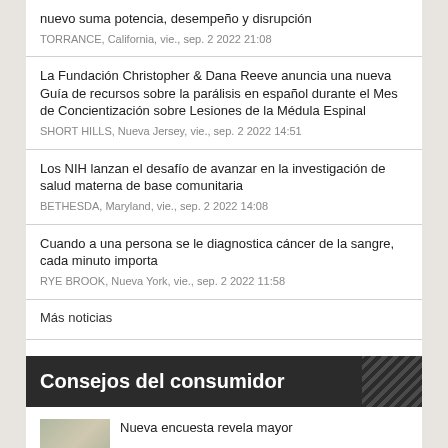nuevo suma potencia, desempeño y disrupción
TORRANCE, California, vie., sep. 2 2022 21:08
La Fundación Christopher & Dana Reeve anuncia una nueva Guía de recursos sobre la parálisis en español durante el Mes de Concientización sobre Lesiones de la Médula Espinal
SHORT HILLS, Nueva Jersey, vie., sep. 2 2022 14:51
Los NIH lanzan el desafío de avanzar en la investigación de salud materna de base comunitaria
BETHESDA, Maryland, vie., sep. 2 2022 14:08
Cuando a una persona se le diagnostica cáncer de la sangre, cada minuto importa
RYE BROOK, Nueva York, vie., sep. 2 2022 11:58
Más noticias
Consejos del consumidor
Nueva encuesta revela mayor